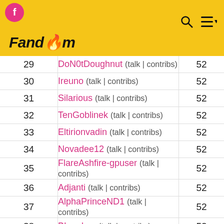Fandom
| Rank | User | Count |
| --- | --- | --- |
| 29 | DoN0tDoughnut (talk | contribs) | 52 |
| 30 | Ireuno (talk | contribs) | 52 |
| 31 | Silarious (talk | contribs) | 52 |
| 32 | TenGoblinek (talk | contribs) | 52 |
| 33 | Eltirionvadin (talk | contribs) | 52 |
| 34 | Novadee12 (talk | contribs) | 52 |
| 35 | FlareAshfire-gpuser (talk | contribs) | 52 |
| 36 | Adjanti (talk | contribs) | 52 |
| 37 | AlphaPrinceND1 (talk | contribs) | 52 |
| 38 | BLumbye (talk | contribs) | 52 |